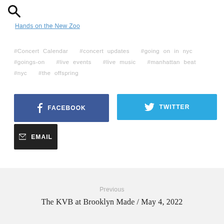[Figure (other): Search icon (magnifying glass)]
Hands on the New Zoo
#Concert Calendar  #concert updates  #going on in nyc  #goings-on  #live events  #live music  #manhattan beat  #nyc  #the offspring
[Figure (other): Facebook share button (dark blue)]
[Figure (other): Twitter share button (light blue)]
[Figure (other): Email share button (black)]
Previous
The KVB at Brooklyn Made / May 4, 2022